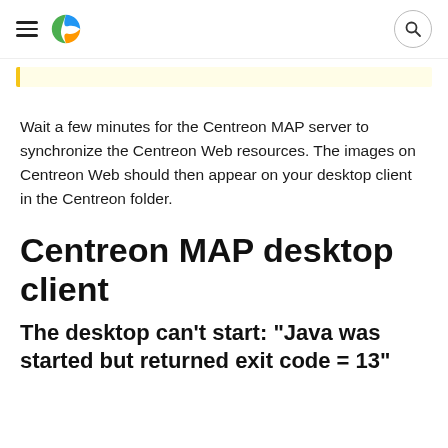Centreon logo and navigation header
Wait a few minutes for the Centreon MAP server to synchronize the Centreon Web resources. The images on Centreon Web should then appear on your desktop client in the Centreon folder.
Centreon MAP desktop client
The desktop can't start: "Java was started but returned exit code = 13"